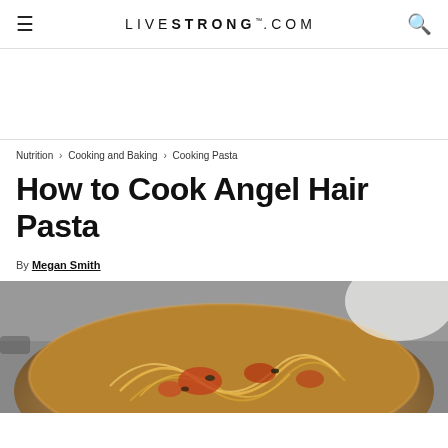LIVESTRONG.COM
Nutrition › Cooking and Baking › Cooking Pasta
How to Cook Angel Hair Pasta
By Megan Smith
[Figure (photo): A pan with angel hair pasta and tomato sauce being cooked, viewed from above at an angle.]